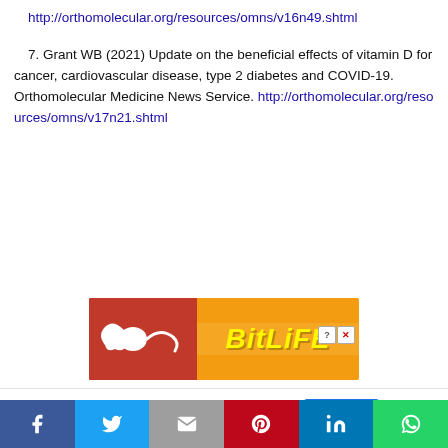http://orthomolecular.org/resources/omns/v16n49.shtml
7. Grant WB (2021) Update on the beneficial effects of vitamin D for cancer, cardiovascular disease, type 2 diabetes and COVID-19. Orthomolecular Medicine News Service. http://orthomolecular.org/resources/omns/v17n21.shtml
[Figure (other): BitLife advertisement banner with red background, sperm logo, and yellow BitLife text]
This website uses cookies. Read More Accept
[Figure (infographic): Social sharing bar with Facebook, Twitter, Email, Pinterest, LinkedIn, and WhatsApp buttons]